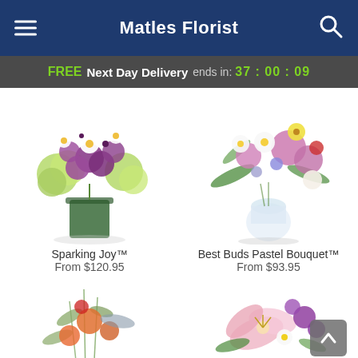Matles Florist
FREE Next Day Delivery ends in: 37 : 00 : 09
[Figure (photo): Flower bouquet: Sparking Joy - purple roses, white daisies, green hydrangeas in square glass vase]
Sparking Joy™
From $120.95
[Figure (photo): Flower bouquet: Best Buds Pastel Bouquet - pink, white, yellow, purple flowers in round glass vase]
Best Buds Pastel Bouquet™
From $93.95
[Figure (photo): Partial view of flower arrangement with red, green and orange flowers]
[Figure (photo): Partial view of light pink lily and purple daisy flower arrangement]